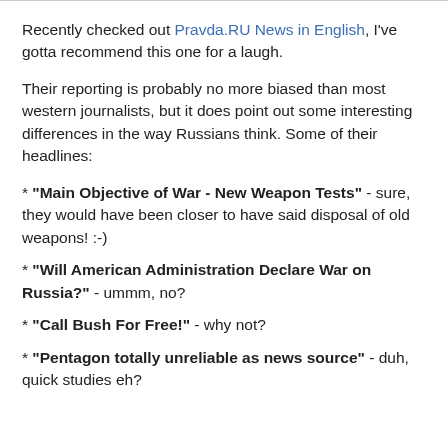Recently checked out Pravda.RU News in English, I've gotta recommend this one for a laugh.
Their reporting is probably no more biased than most western journalists, but it does point out some interesting differences in the way Russians think. Some of their headlines:
* "Main Objective of War - New Weapon Tests" - sure, they would have been closer to have said disposal of old weapons! :-)
* "Will American Administration Declare War on Russia?" - ummm, no?
* "Call Bush For Free!" - why not?
* "Pentagon totally unreliable as news source" - duh, quick studies eh?